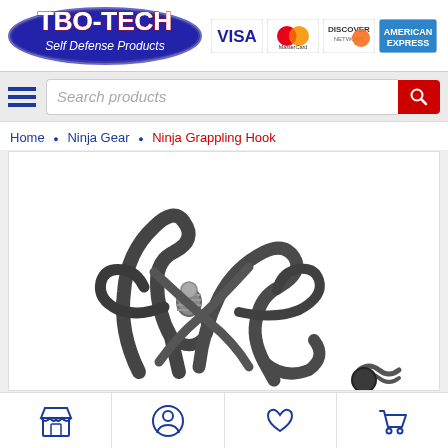[Figure (logo): TBO-TECH Self Defense Products logo with VISA, MasterCard, Discover, American Express payment icons]
[Figure (screenshot): Search bar with hamburger menu icon on left and red search button on right, placeholder text 'Search products']
Home • Ninja Gear • Ninja Grappling Hook
[Figure (photo): Close-up photo of a ninja grappling hook with multiple dark metal curved hooks and a coiled rope/cord attachment]
[Figure (screenshot): Bottom navigation bar with store icon, user/account icon, heart/wishlist icon, and shopping cart icon]